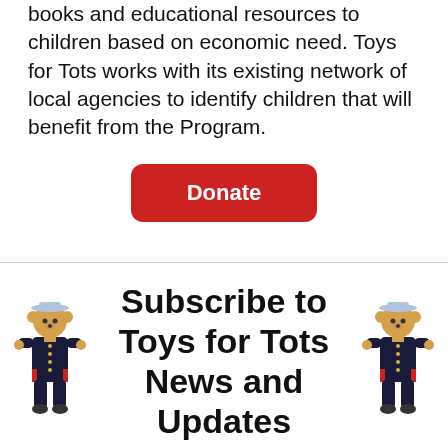books and educational resources to children based on economic need. Toys for Tots works with its existing network of local agencies to identify children that will benefit from the Program.
[Figure (other): Red rounded rectangle button with white bold text reading 'Donate']
[Figure (other): Two marine teddy bear mascots flanking the text 'Subscribe to Toys for Tots News and Updates' with a red 'Subscribe' button below]
Subscribe to Toys for Tots News and Updates
[Figure (other): Red rounded rectangle button with white bold text reading 'Subscribe']